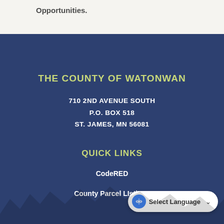Opportunities.
THE COUNTY OF WATONWAN
710 2ND AVENUE SOUTH
P.O. BOX 518
ST. JAMES, MN 56081
QUICK LINKS
CodeRED
County Parcel LIstings